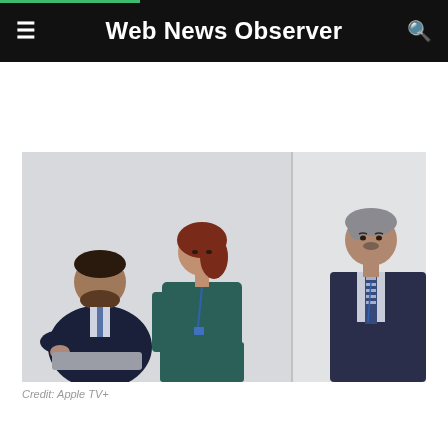Web News Observer
[Figure (photo): Three people in an office or institutional setting. On the left, a heavyset bearded man in a dark suit sits in a chair. In the center, a woman with auburn/red hair wearing a teal long-sleeve top and a blue lanyard stands facing slightly left. On the right, an older man in a suit and striped tie stands near a partition wall.]
Credit: Apple TV+